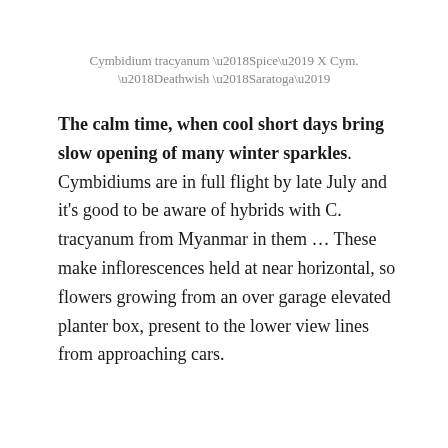Cymbidium tracyanum ‘Spice’ X Cym. ‘Deathwish ‘Saratoga’
The calm time, when cool short days bring slow opening of many winter sparkles. Cymbidiums are in full flight by late July and it’s good to be aware of hybrids with C. tracyanum from Myanmar in them … These make inflorescences held at near horizontal, so flowers growing from an over garage elevated planter box, present to the lower view lines from approaching cars.